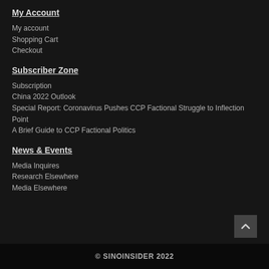My Account
My account
Shopping Cart
Checkout
Subscriber Zone
Subscription
China 2022 Outlook
Special Report: Coronavirus Pushes CCP Factional Struggle to Inflection Point
A Brief Guide to CCP Factional Politics
News & Events
Media Inquires
Research Elsewhere
Media Elsewhere
© SINOINSIDER 2022